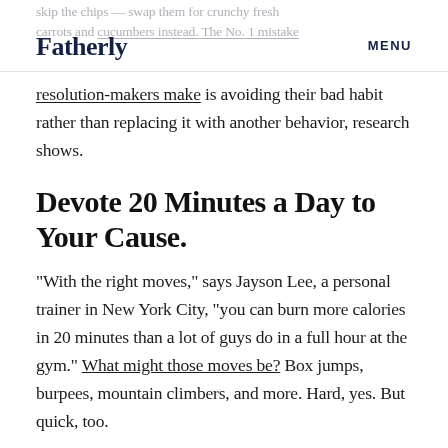Fatherly  MENU
skip the chips — swap them for crunchy fresh carrots and cucumbers instead. The No. 1 mistake resolution-makers make is avoiding their bad habit rather than replacing it with another behavior, research shows.
Devote 20 Minutes a Day to Your Cause.
“With the right moves,” says Jayson Lee, a personal trainer in New York City, “you can burn more calories in 20 minutes than a lot of guys do in a full hour at the gym.” What might those moves be? Box jumps, burpees, mountain climbers, and more. Hard, yes. But quick, too.